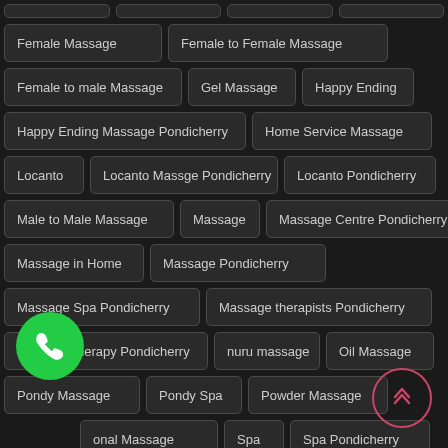Female Massage
Female to Female Massage
Female to male Massage
Gel Massage
Happy Ending
Happy Ending Massage Pondicherry
Home Service Massage
Locanto
Locanto Massge Pondicherry
Locanto Pondicherry
Male to Male Massage
Massage
Massage Centre Pondicherry
Massage in Home
Massage Pondicherry
Massage Spa Pondicherry
Massage therapists Pondicherry
Massage therapy Pondicherry
nuru massage
Oil Massage
Pondy Massage
Pondy Spa
Powder Massage
onal Massage
Spa
Spa Pondicherry